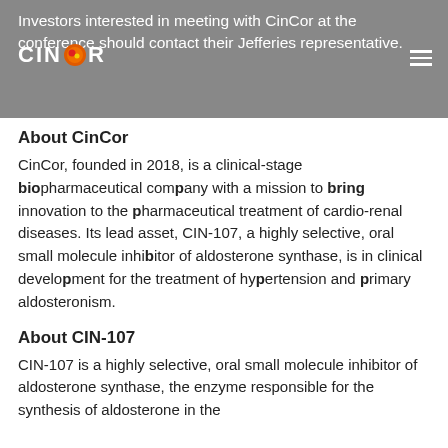Investors interested in meeting with CinCor at the conference should contact their Jefferies representative.
[Figure (logo): CinCor logo with orange/red circular emblem between CIN and R text, white text on grey background]
About CinCor
CinCor, founded in 2018, is a clinical-stage biopharmaceutical company with a mission to bring innovation to the pharmaceutical treatment of cardio-renal diseases. Its lead asset, CIN-107, a highly selective, oral small molecule inhibitor of aldosterone synthase, is in clinical development for the treatment of hypertension and primary aldosteronism.
About CIN-107
CIN-107 is a highly selective, oral small molecule inhibitor of aldosterone synthase, the enzyme responsible for the synthesis of aldosterone in the